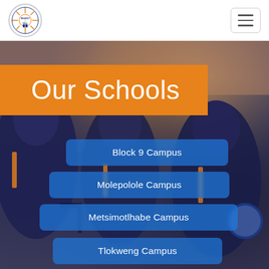[Figure (logo): Regent Hill school circular logo with sunburst and book graphic]
[Figure (other): Hamburger/toggle menu button icon (three horizontal lines) in a rounded rectangle]
[Figure (photo): Background photo of students in navy and orange school uniforms/blazers seated, with brick wall visible]
Our Schools
Block 9 Campus
Molepolole Campus
Metsimotlhabe Campus
Tlokweng Campus